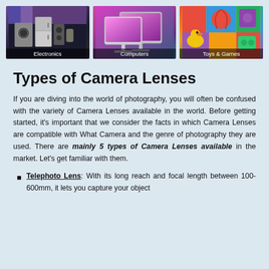[Figure (photo): Three product category images side by side: Electronics (appliances/gadgets), Computers (iMac-style monitors), Toys & Games (colorful toys)]
Types of Camera Lenses
If you are diving into the world of photography, you will often be confused with the variety of Camera Lenses available in the world. Before getting started, it's important that we consider the facts in which Camera Lenses are compatible with What Camera and the genre of photography they are used. There are mainly 5 types of Camera Lenses available in the market. Let's get familiar with them.
Telephoto Lens: With its long reach and focal length between 100-600mm, it lets you capture your object